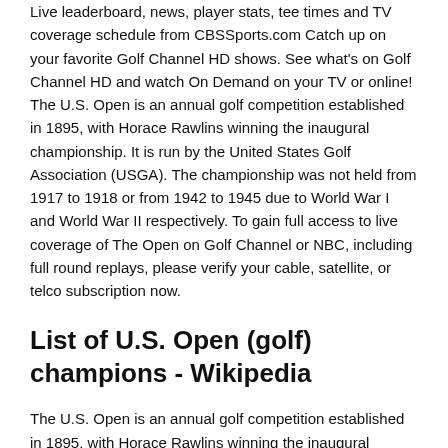Live leaderboard, news, player stats, tee times and TV coverage schedule from CBSSports.com Catch up on your favorite Golf Channel HD shows. See what's on Golf Channel HD and watch On Demand on your TV or online! The U.S. Open is an annual golf competition established in 1895, with Horace Rawlins winning the inaugural championship. It is run by the United States Golf Association (USGA). The championship was not held from 1917 to 1918 or from 1942 to 1945 due to World War I and World War II respectively. To gain full access to live coverage of The Open on Golf Channel or NBC, including full round replays, please verify your cable, satellite, or telco subscription now.
List of U.S. Open (golf) champions - Wikipedia
The U.S. Open is an annual golf competition established in 1895, with Horace Rawlins winning the inaugural